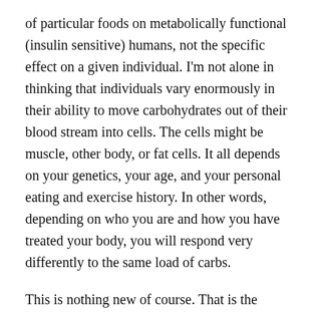of particular foods on metabolically functional (insulin sensitive) humans, not the specific effect on a given individual.  I'm not alone in thinking that individuals vary enormously in their ability to move carbohydrates out of their blood stream into cells.  The cells might be muscle, other body, or fat cells.  It all depends on your genetics, your age, and your personal eating and exercise history. In other words, depending on who you are and how you have treated your body, you will respond very differently to the same load of carbs.
This is nothing new of course. That is the whole point of the Oral Glucose Tolerance test.  You drink 75g of pure glucose and we monitor your glucose response over time. More insulin sensitive people will clear the glucose load more quickly. Although not normally measured, we know the area under the insulin curve will be less in these people. I...